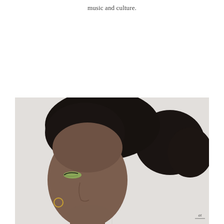music and culture.
[Figure (photo): Close-up portrait photo of a Black woman with natural hair pulled back in a bun, wearing green eyeshadow and a gold hoop earring, photographed against a light/white background, profile-angled view]
at